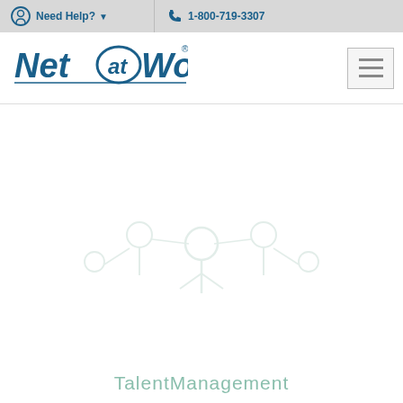Need Help?   1-800-719-3307
[Figure (logo): Net at Work logo — stylized text with 'at' in a blue oval, followed by 'Work' with registered trademark symbol]
[Figure (screenshot): Faint watermark illustration of interconnected people/network figures with 'TalentManagement' text below, very light gray/teal on white background]